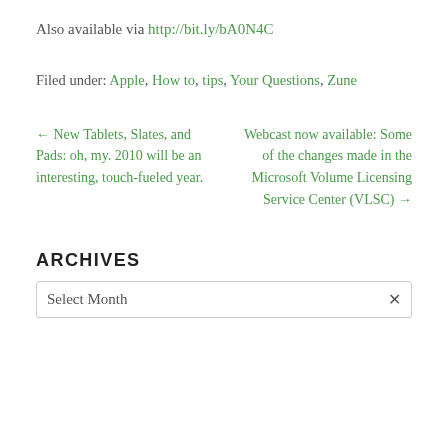Also available via http://bit.ly/bA0N4C
Filed under: Apple, How to, tips, Your Questions, Zune
← New Tablets, Slates, and Pads: oh, my. 2010 will be an interesting, touch-fueled year.
Webcast now available: Some of the changes made in the Microsoft Volume Licensing Service Center (VLSC) →
ARCHIVES
Select Month